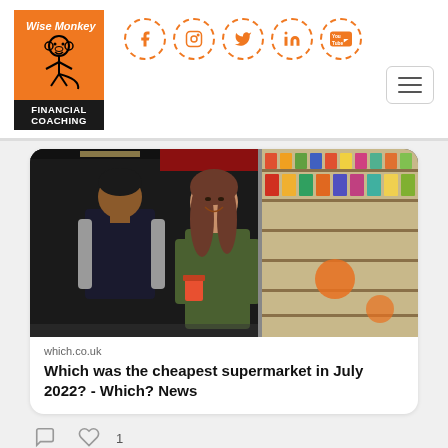[Figure (logo): Wise Monkey Financial Coaching logo — orange square with cartoon monkey, black banner with white text FINANCIAL COACHING]
[Figure (infographic): Row of five orange dashed-circle social media icons: Facebook (f), Instagram (camera), Twitter (bird), LinkedIn (in), YouTube (You Tube)]
[Figure (photo): Two people shopping in a supermarket aisle; a man in a dark vest and a smiling woman holding a cup, with shelves of products behind them]
which.co.uk
Which was the cheapest supermarket in July 2022? - Which? News